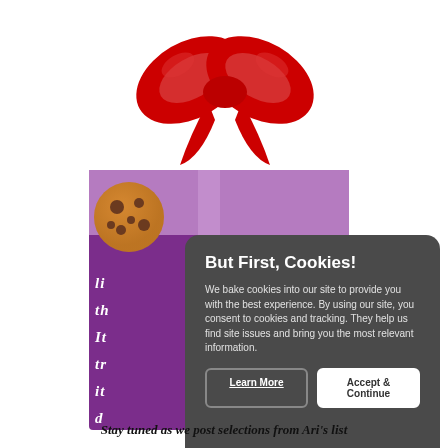[Figure (illustration): A cookie consent popup modal overlaying a gift box with a red bow. The gift box is purple with a lighter purple ribbon stripe. A chocolate chip cookie icon appears in the upper left of the gift. The modal has a dark gray background with white text showing 'But First, Cookies!' as the title, followed by consent text, and two buttons: 'Learn More' (outlined) and 'Accept & Continue' (white filled).]
Stay tuned as we post selections from Ari's list